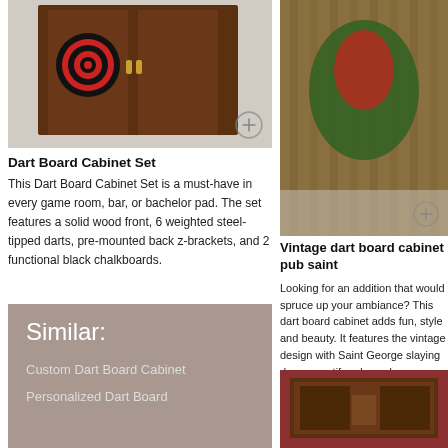[Figure (photo): Dart board cabinet set product image with plus button]
Dart Board Cabinet Set
This Dart Board Cabinet Set is a must-have in every game room, bar, or bachelor pad. The set features a solid wood front, 6 weighted steel-tipped darts, pre-mounted back z-brackets, and 2 functional black chalkboards.
[Figure (photo): Vintage dart board cabinet pub saint product image with plus button]
Vintage dart board cabinet pub saint
Looking for an addition that would spruce up your ambiance? This dart board cabinet adds fun, style and beauty. It features the vintage design with Saint George slaying dragon motif and wooden construction.
[Figure (infographic): Similar section with grey-brown background listing Custom Dart Board Cabinet and Personalized Dart Board]
Custom Dart Board Cabinet
Personalized Dart Board
[Figure (photo): Rustic dart board cabinet product image on red background]